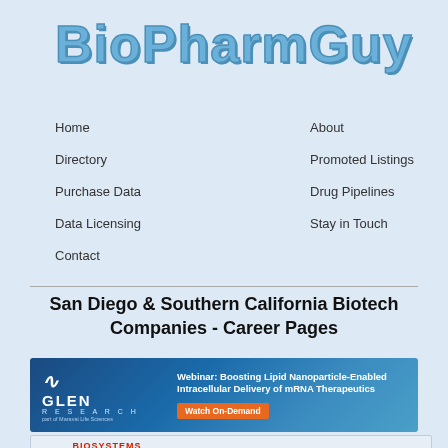[Figure (logo): BioPharmGuy website logo with blue outlined text on light blue background with molecule/cell imagery]
Home
About
Directory
Promoted Listings
Purchase Data
Drug Pipelines
Data Licensing
Stay in Touch
Contact
San Diego & Southern California Biotech Companies - Career Pages
[Figure (other): Glen Research advertisement banner: Webinar: Boosting Lipid Nanoparticle-Enabled Intracellular Delivery of mRNA Therapeutics - Watch On-Demand]
[Figure (logo): Agilent Biosystems logo advertisement banner]